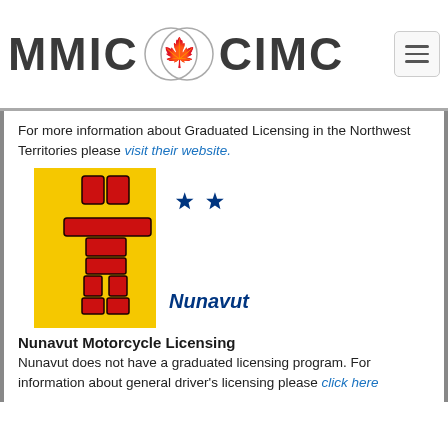MMIC CIMC
For more information about Graduated Licensing in the Northwest Territories please visit their website.
[Figure (illustration): Nunavut flag showing an inuksuk (red stone figure) on yellow background with two blue stars and 'Nunavut' text in blue]
Nunavut Motorcycle Licensing
Nunavut does not have a graduated licensing program. For information about general driver's licensing please click here.